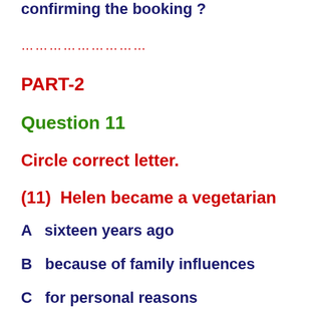confirming the booking ?
……………………
PART-2
Question 11
Circle correct letter.
(11)  Helen became a vegetarian
A   sixteen years ago
B   because of family influences
C   for personal reasons